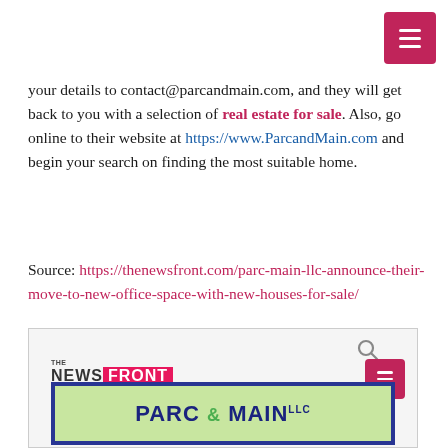your details to contact@parcandmain.com, and they will get back to you with a selection of real estate for sale. Also, go online to their website at https://www.ParcandMain.com and begin your search on finding the most suitable home.
Source: https://thenewsfront.com/parc-main-llc-announce-their-move-to-new-office-space-with-new-houses-for-sale/
[Figure (screenshot): Screenshot of The News Front website header showing the News Front logo, a search icon, and a hamburger menu button (pink/red), with the Parc & Main LLC logo partially visible below.]